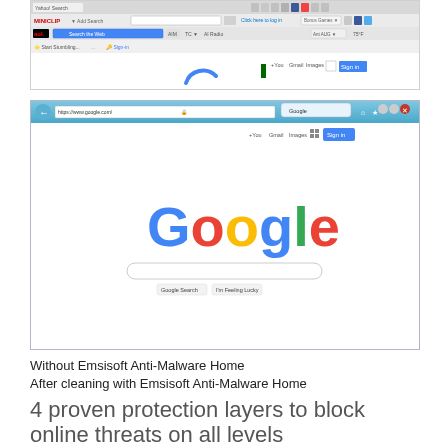[Figure (screenshot): Browser screenshot showing multiple browser toolbars (Miniclip, AOL, etc.) with Google partial load - 'without Emsisoft Anti-Malware Home' state]
[Figure (screenshot): Internet Explorer browser screenshot showing Google homepage with Google logo, search box and buttons - 'after cleaning with Emsisoft Anti-Malware Home' state]
Without Emsisoft Anti-Malware Home
After cleaning with Emsisoft Anti-Malware Home
4 proven protection layers to block online threats on all levels
Surf Protection